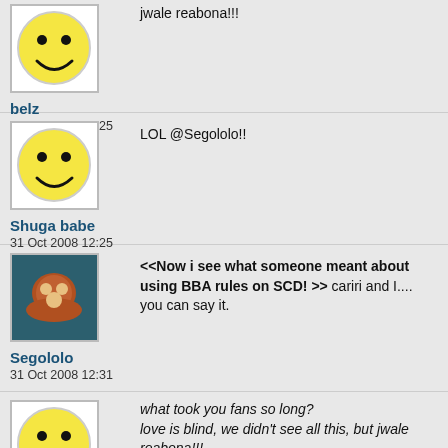jwale reabona!!!
belz
31 Oct 2008 12:25
LOL @Segololo!!
Shuga babe
31 Oct 2008 12:25
<<Now i see what someone meant about using BBA rules on SCD! >> cariri and I.... you can say it.
Segololo
31 Oct 2008 12:31
what took you fans so long?
love is blind, we didn't see all this, but jwale reabona!!!

LOL y'all, Hlubi ekare magogo. hai!!! nywee nywee nywee all the time!!

Really Cody, kanti mara yini ngaye, haai mncm!
Cody
31 Oct 2008 12:33